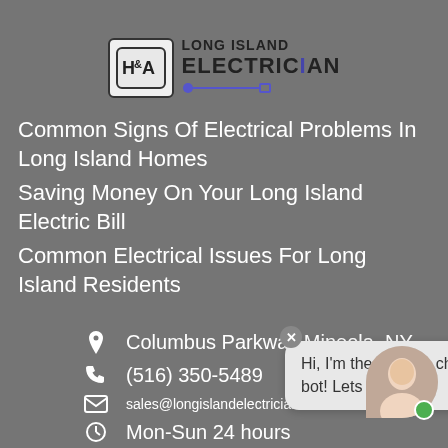[Figure (logo): H&A Long Island Electrician logo with stylized H&A in a rounded rectangle box and text 'LONG ISLAND ELECTRICIAN' with a plug connector graphic]
Common Signs Of Electrical Problems In Long Island Homes
Saving Money On Your Long Island Electric Bill
Common Electrical Issues For Long Island Residents
Columbus Parkway Mineola, NY
(516) 350-5489
sales@longislandelectriciansspecialists.com
Mon-Sun 24 hours
Hi, I'm the website chat bot! Lets chat!